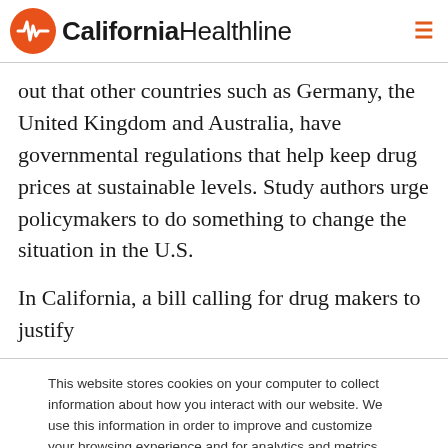California Healthline
out that other countries such as Germany, the United Kingdom and Australia, have governmental regulations that help keep drug prices at sustainable levels. Study authors urge policymakers to do something to change the situation in the U.S.
In California, a bill calling for drug makers to justify
This website stores cookies on your computer to collect information about how you interact with our website. We use this information in order to improve and customize your browsing experience and for analytics and metrics about our visitors both on this website and other media. To find out more about the cookies we use, see our Privacy Policy.
Accept